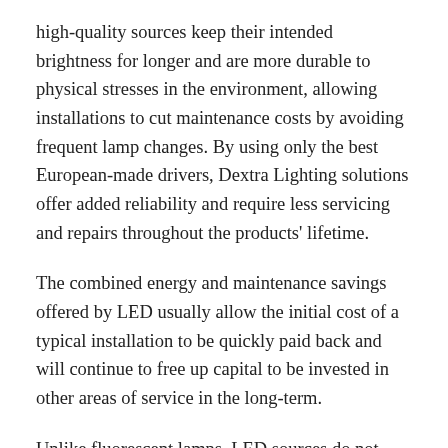high-quality sources keep their intended brightness for longer and are more durable to physical stresses in the environment, allowing installations to cut maintenance costs by avoiding frequent lamp changes. By using only the best European-made drivers, Dextra Lighting solutions offer added reliability and require less servicing and repairs throughout the products' lifetime.
The combined energy and maintenance savings offered by LED usually allow the initial cost of a typical installation to be quickly paid back and will continue to free up capital to be invested in other areas of service in the long-term.
Unlike fluorescent lamps, LED sources do not contain hazardous or toxic materials such as mercury, which pose potential health risks if broken on site, or to the environment upon disposal. Replacing damaged LED fixtures on the other